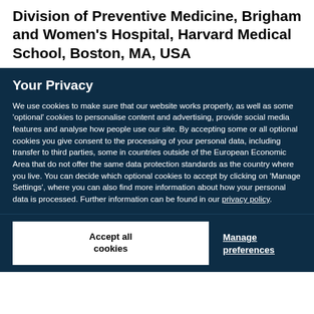Division of Preventive Medicine, Brigham and Women's Hospital, Harvard Medical School, Boston, MA, USA
Your Privacy
We use cookies to make sure that our website works properly, as well as some 'optional' cookies to personalise content and advertising, provide social media features and analyse how people use our site. By accepting some or all optional cookies you give consent to the processing of your personal data, including transfer to third parties, some in countries outside of the European Economic Area that do not offer the same data protection standards as the country where you live. You can decide which optional cookies to accept by clicking on 'Manage Settings', where you can also find more information about how your personal data is processed. Further information can be found in our privacy policy.
Accept all cookies
Manage preferences